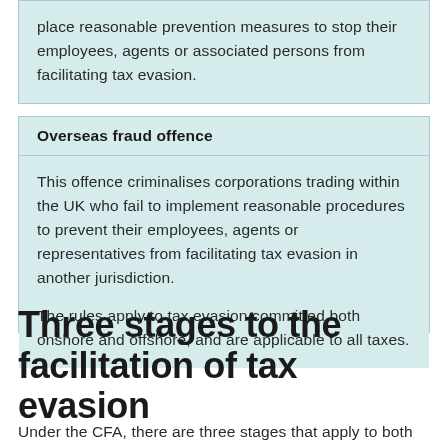place reasonable prevention measures to stop their employees, agents or associated persons from facilitating tax evasion.
Overseas fraud offence
This offence criminalises corporations trading within the UK who fail to implement reasonable procedures to prevent their employees, agents or representatives from facilitating tax evasion in another jurisdiction.

The rules apply to tax evasion committed both onshore and offshore, and are applicable to all taxes.
Three stages to the facilitation of tax evasion
Under the CFA, there are three stages that apply to both